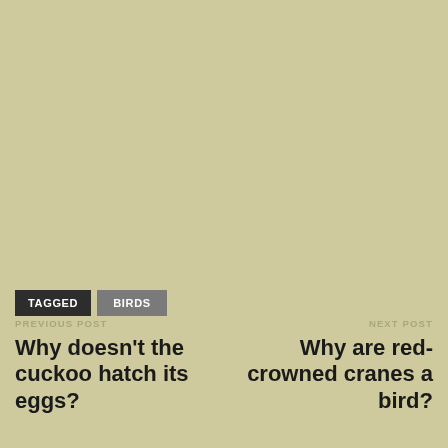TAGGED  BIRDS
PREVIOUS POST
Why doesn't the cuckoo hatch its eggs?
NEXT POST
Why are red-crowned cranes a bird?